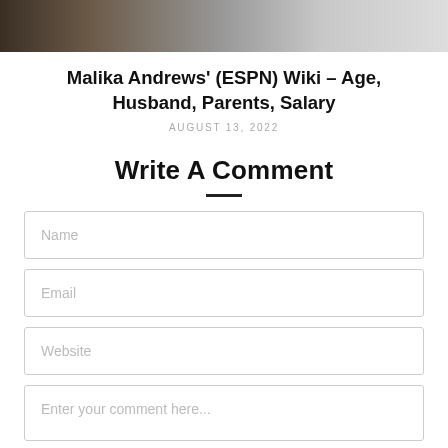[Figure (photo): Partial photo strip at top of page showing a person, cropped]
Malika Andrews' (ESPN) Wiki – Age, Husband, Parents, Salary
AUGUST 13, 2022
Write A Comment
Name
Email
Website
Enter your comment here...